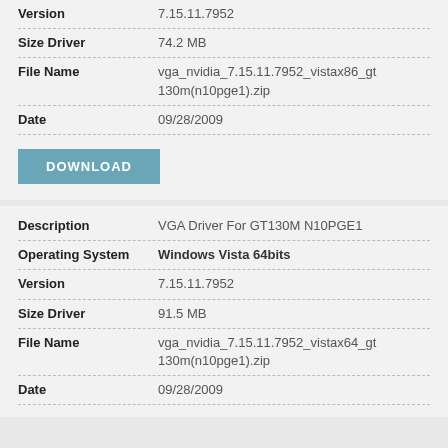| Field | Value |
| --- | --- |
| Version | 7.15.11.7952 |
| Size Driver | 74.2 MB |
| File Name | vga_nvidia_7.15.11.7952_vistax86_gt130m(n10pge1).zip |
| Date | 09/28/2009 |
DOWNLOAD
| Field | Value |
| --- | --- |
| Description | VGA Driver For GT130M N10PGE1 |
| Operating System | Windows Vista 64bits |
| Version | 7.15.11.7952 |
| Size Driver | 91.5 MB |
| File Name | vga_nvidia_7.15.11.7952_vistax64_gt130m(n10pge1).zip |
| Date | 09/28/2009 |